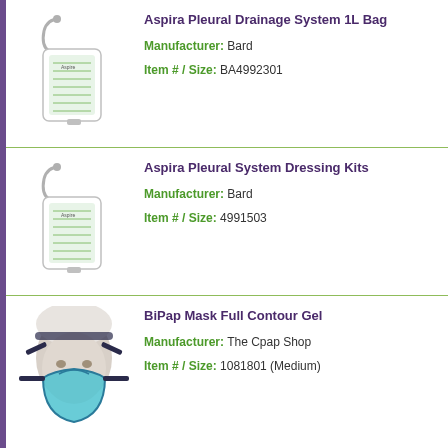[Figure (photo): Aspira Pleural Drainage System 1L Bag product image showing a drainage bag with tubing]
Aspira Pleural Drainage System 1L Bag
Manufacturer: Bard
Item # / Size: BA4992301
[Figure (photo): Aspira Pleural System Dressing Kits product image showing a drainage bag with tubing]
Aspira Pleural System Dressing Kits
Manufacturer: Bard
Item # / Size: 4991503
[Figure (photo): BiPap Mask Full Contour Gel product image showing a mannequin head wearing a full face CPAP mask with blue gel cushion]
BiPap Mask Full Contour Gel
Manufacturer: The Cpap Shop
Item # / Size: 1081801 (Medium)